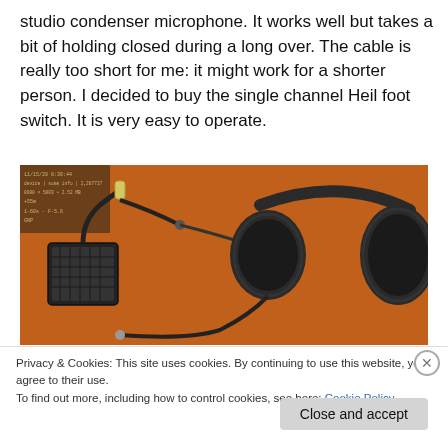studio condenser microphone. It works well but takes a bit of holding closed during a long over. The cable is really too short for me: it might work for a shorter person. I decided to buy the single channel Heil foot switch. It is very easy to operate.
[Figure (photo): Photo of audio equipment on an orange/brown surface: a foot switch device on the left, cables in the middle, and a pair of black headphones on the right. A small camera info overlay is visible in the top-left corner of the photo.]
Privacy & Cookies: This site uses cookies. By continuing to use this website, you agree to their use.
To find out more, including how to control cookies, see here: Cookie Policy
Close and accept